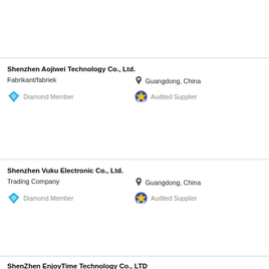Shenzhen Aojiwei Technology Co., Ltd.
Fabrikant/fabriek
Guangdong, China
Diamond Member
Audited Supplier
Shenzhen Vuku Electronic Co., Ltd.
Trading Company
Guangdong, China
Diamond Member
Audited Supplier
ShenZhen EnjoyTime Technology Co., LTD